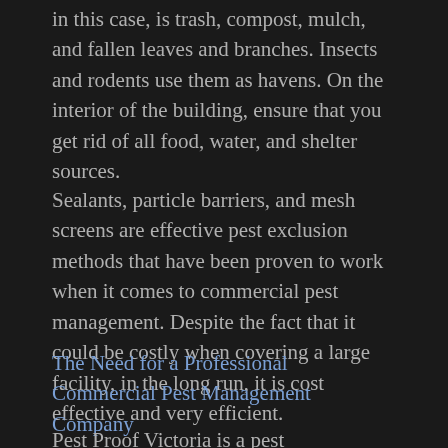in this case, is trash, compost, mulch, and fallen leaves and branches. Insects and rodents use them as havens. On the interior of the building, ensure that you get rid of all food, water, and shelter sources.
Sealants, particle barriers, and mesh screens are effective pest exclusion methods that have been proven to work when it comes to commercial pest management. Despite the fact that it could be costly when covering a large facility, in the long run, it is cost effective and very efficient.
The Need for a Professional Commercial Pest Management Company
Pest Proof Victoria is a pest management